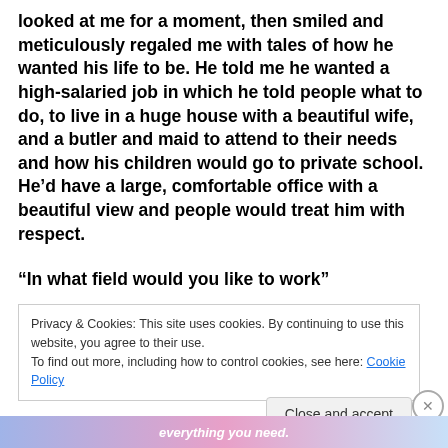looked at me for a moment, then smiled and meticulously regaled me with tales of how he wanted his life to be. He told me he wanted a high-salaried job in which he told people what to do, to live in a huge house with a beautiful wife, and a butler and maid to attend to their needs and how his children would go to private school. He'd have a large, comfortable office with a beautiful view and people would treat him with respect.
“In what field would you like to work”
Privacy & Cookies: This site uses cookies. By continuing to use this website, you agree to their use.
To find out more, including how to control cookies, see here: Cookie Policy
Close and accept
[Figure (other): Advertisement banner at the bottom with colorful gradient and text 'everything you need.']